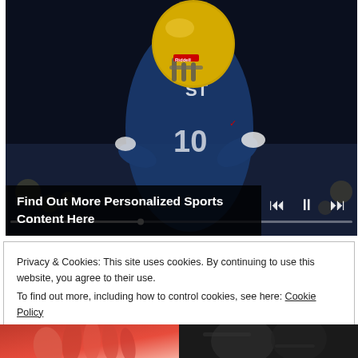[Figure (screenshot): A video player showing a football player wearing a blue jersey with number 10 and a gold helmet, pointing at the camera. Video playback controls (skip back, pause, skip forward) are visible at the bottom right, along with a progress bar. A dark caption overlay reads 'Find Out More Personalized Sports Content Here'.]
Find Out More Personalized Sports Content Here
Privacy & Cookies: This site uses cookies. By continuing to use this website, you agree to their use.
To find out more, including how to control cookies, see here: Cookie Policy
[Figure (photo): Bottom thumbnail image on the left showing what appears to be a red/sports related photo]
[Figure (photo): Bottom thumbnail image on the right showing a dark/black and white sports photo]